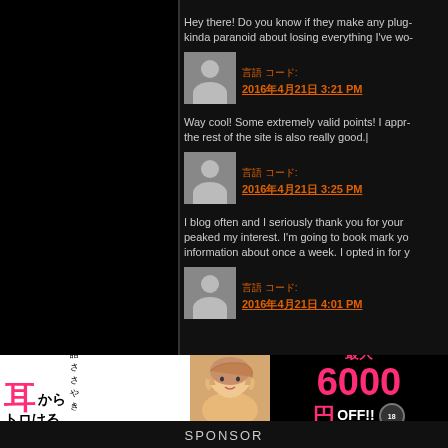Hey there! Do you know if they make any plug... kinda paranoid about losing everything I've wo...
[Figure (photo): Default user avatar placeholder (grey silhouette)]
言語コード: 2016年4月21日 3:21 PM
Way cool! Some extremely valid points! I appr... the rest of the site is also really good.|
[Figure (photo): Default user avatar placeholder (grey silhouette)]
言語コード: 2016年4月21日 3:25 PM
I blog often and I seriously thank you for your... peaked my interest. I'm going to book mark yo... information about once a week. I opted in for y...
[Figure (photo): Default user avatar placeholder (grey silhouette)]
言語コード: 2016年4月21日 4:01 PM
[Figure (infographic): Japanese advertisement banner: 耳からトロける 淫語ささやき 最大6000円OFF!! with a photo of a woman]
SPONSOR